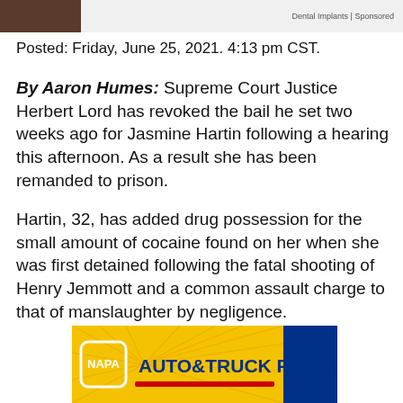Dental Implants | Sponsored
Posted: Friday, June 25, 2021. 4:13 pm CST.
By Aaron Humes: Supreme Court Justice Herbert Lord has revoked the bail he set two weeks ago for Jasmine Hartin following a hearing this afternoon. As a result she has been remanded to prison.
Hartin, 32, has added drug possession for the small amount of cocaine found on her when she was first detained following the fatal shooting of Henry Jemmott and a common assault charge to that of manslaughter by negligence.
[Figure (logo): NAPA AUTO & TRUCK PARTS advertisement banner with yellow background, NAPA hexagon logo in white outline, blue text AUTO&TRUCK PARTS, blue stripe on right side, red underline stripe]